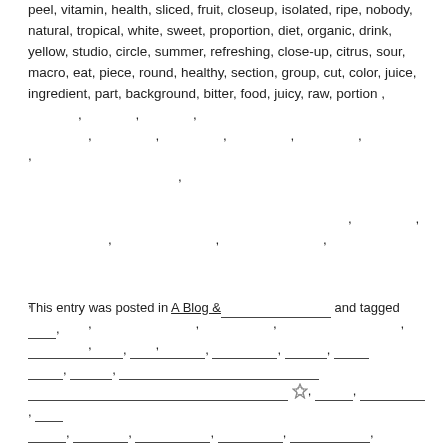peel, vitamin, health, sliced, fruit, closeup, isolated, ripe, nobody, natural, tropical, white, sweet, proportion, diet, organic, drink, yellow, studio, circle, summer, refreshing, close-up, citrus, sour, macro, eat, piece, round, healthy, section, group, cut, color, juice, ingredient, part, background, bitter, food, juicy, raw, portion , , , , , , , , , , , , , , , , , , , , , , , , , , , , , , , , , , , , , ,
This entry was posted in A Blog & __________ and tagged __, __________, __________, __________, _______, _______, _______, __________, _________________________________________, _________________________________________, ________, ________, ___________, _______, __________, _______, _______, __________, _______, __________.